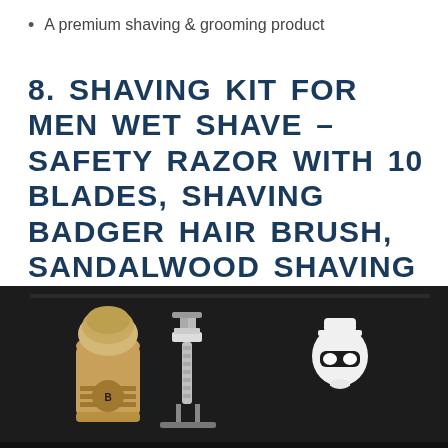A premium shaving & grooming product
8. SHAVING KIT FOR MEN WET SHAVE – SAFETY RAZOR WITH 10 BLADES, SHAVING BADGER HAIR BRUSH, SANDALWOOD SHAVING SOAP CREAM, SHAVING STAND, STAINLESS STE
[Figure (photo): A shaving kit product displayed in a black box, featuring a badger hair brush with wooden handle, a double-edge safety razor on a stand, and a barber skull logo on the box.]